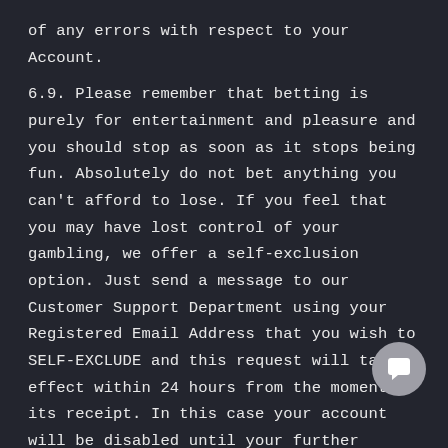of any errors with respect to your Account.
6.9. Please remember that betting is purely for entertainment and pleasure and you should stop as soon as it stops being fun. Absolutely do not bet anything you can't afford to lose. If you feel that you may have lost control of your gambling, we offer a self-exclusion option. Just send a message to our Customer Support Department using your Registered Email Address that you wish to SELF-EXCLUDE and this request will take effect within 24 hours from the moment of its receipt. In this case your account will be disabled until your further notice, and you won't be able to login to it.
6.10. You cannot transfer, sell, or pledge Your Account to another person. This prohibition includes the